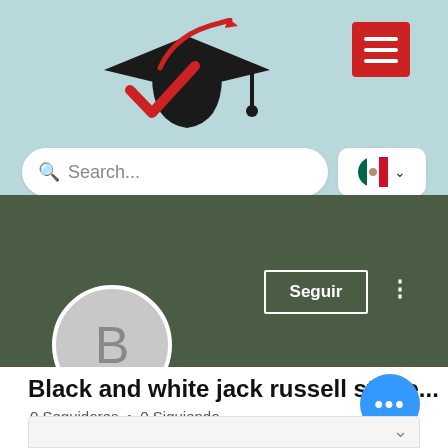[Figure (screenshot): Education platform website screenshot showing a logo with a graduation cap and red checkmark, a search bar with 'Search...' placeholder, a Mexican flag language selector, a dark green profile banner with a 'Seguir' (Follow) button, a gray avatar circle with letter B, profile name 'Black and white jack russell stuffe...', and follower stats '0 Seguidores • 0 Siguiendo']